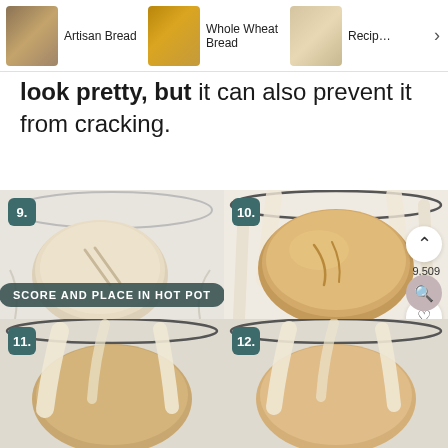Artisan Bread | Whole Wheat Bread | Recipe
look pretty, but it can also prevent it from cracking.
[Figure (photo): Step 9: Raw scored dough ball on parchment paper in a bowl]
SCORE AND PLACE IN HOT POT
[Figure (photo): Step 10: Baked bread dough in a parchment-lined pot with UI elements showing chevron up, 9,509 save count, and heart icon]
[Figure (photo): Step 11: Bread in pot with parchment paper, partially visible]
[Figure (photo): Step 12: Bread in pot with parchment paper, partially visible]